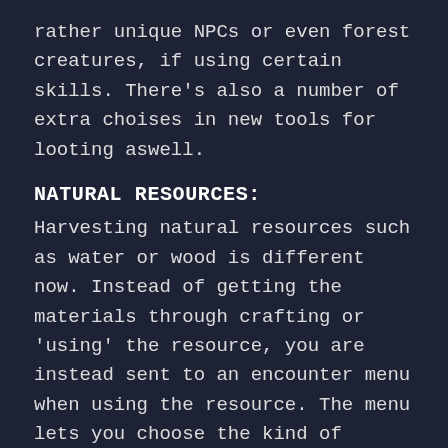rather unique NPCs or even forest creatures, if using certain skills. There's also a number of extra choises in new tools for looting aswell.
NATURAL RESOURCES:
Harvesting natural resources such as water or wood is different now. Instead of getting the materials through crafting or 'using' the resource, you are instead sent to an encounter menu when using the resource. The menu lets you choose the kind of resource you want to gather, tiring the player in the process.
CAMPSITES:
The mod includes new campsites in places lacking